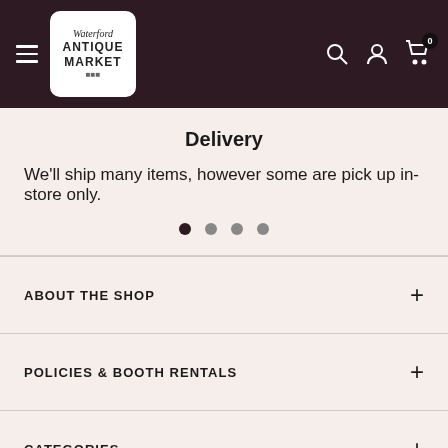[Figure (logo): Waterford Antique Market logo - white square with text in black serif/script font]
Delivery
We'll ship many items, however some are pick up in-store only.
ABOUT THE SHOP
POLICIES & BOOTH RENTALS
CATEGORIES